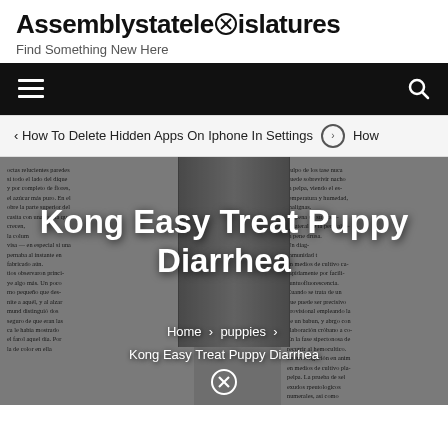Assemblystatelegislatures
Find Something New Here
[Figure (screenshot): Black navigation bar with hamburger menu on left and search icon on right]
How To Delete Hidden Apps On Iphone In Settings > How
[Figure (photo): Grayscale background showing book pages with text in Spanish on left and right, a phone or dark object in the center, overlaid with the article title 'Kong Easy Treat Puppy Diarrhea' in bold white text, and breadcrumb navigation showing Home > puppies > Kong Easy Treat Puppy Diarrhea with a close icon at the bottom]
Kong Easy Treat Puppy Diarrhea
Home > puppies > Kong Easy Treat Puppy Diarrhea